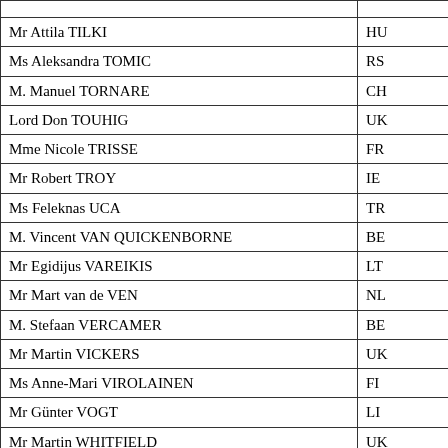| Name | Country |
| --- | --- |
| Mr Attila TILKI | HU |
| Ms Aleksandra TOMIC | RS |
| M. Manuel TORNARE | CH |
| Lord Don TOUHIG | UK |
| Mme Nicole TRISSE | FR |
| Mr Robert TROY | IE |
| Ms Feleknas UCA | TR |
| M. Vincent VAN QUICKENBORNE | BE |
| Mr Egidijus VAREIKIS | LT |
| Mr Mart van de VEN | NL |
| M. Stefaan VERCAMER | BE |
| Mr Martin VICKERS | UK |
| Ms Anne-Mari VIROLAINEN | FI |
| Mr Günter VOGT | LI |
| Mr Martin WHITFIELD | UK |
| Mr Phil WILSON | UK |